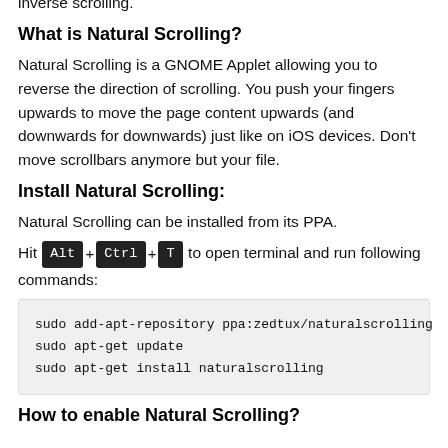inverse scrolling.
What is Natural Scrolling?
Natural Scrolling is a GNOME Applet allowing you to reverse the direction of scrolling. You push your fingers upwards to move the page content upwards (and downwards for downwards) just like on iOS devices. Don't move scrollbars anymore but your file.
Install Natural Scrolling:
Natural Scrolling can be installed from its PPA.
Hit Alt + Ctrl + T to open terminal and run following commands:
sudo add-apt-repository ppa:zedtux/naturalscrolling
sudo apt-get update
sudo apt-get install naturalscrolling
How to enable Natural Scrolling?